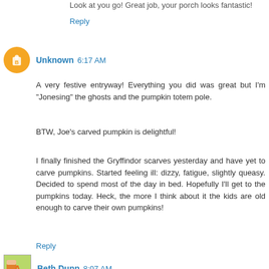Look at you go! Great job, your porch looks fantastic!
Reply
Unknown 6:17 AM
A very festive entryway! Everything you did was great but I'm "Jonesing" the ghosts and the pumpkin totem pole.

BTW, Joe's carved pumpkin is delightful!

I finally finished the Gryffindor scarves yesterday and have yet to carve pumpkins. Started feeling ill: dizzy, fatigue, slightly queasy. Decided to spend most of the day in bed. Hopefully I'll get to the pumpkins today. Heck, the more I think about it the kids are old enough to carve their own pumpkins!
Reply
Beth Dunn 8:07 AM
You are amazing. I'm so stealing the black beans orange